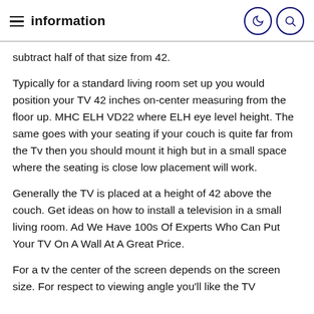information
subtract half of that size from 42.
Typically for a standard living room set up you would position your TV 42 inches on-center measuring from the floor up. MHC ELH VD22 where ELH eye level height. The same goes with your seating if your couch is quite far from the Tv then you should mount it high but in a small space where the seating is close low placement will work.
Generally the TV is placed at a height of 42 above the couch. Get ideas on how to install a television in a small living room. Ad We Have 100s Of Experts Who Can Put Your TV On A Wall At A Great Price.
For a tv the center of the screen depends on the screen size. For respect to viewing angle you'll like the TV